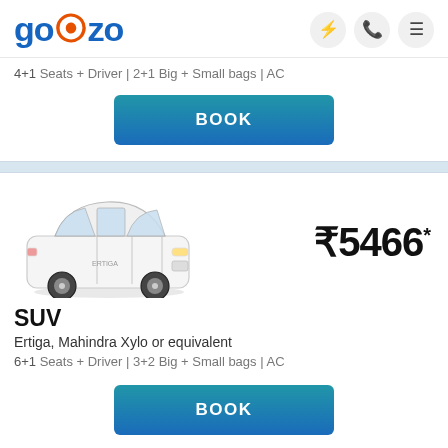[Figure (logo): Gozo logo with blue text and orange location pin icon]
4+1 Seats + Driver | 2+1 Big + Small bags | AC
BOOK
[Figure (photo): White Maruti Ertiga SUV/MPV car, front-side view on white background]
₹5466*
SUV
Ertiga, Mahindra Xylo or equivalent
6+1 Seats + Driver | 3+2 Big + Small bags | AC
BOOK